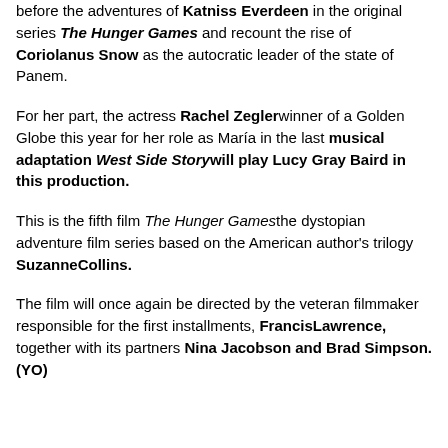before the adventures of Katniss Everdeen in the original series The Hunger Games and recount the rise of Coriolanus Snow as the autocratic leader of the state of Panem.
For her part, the actress Rachel Zieglerwinner of a Golden Globe this year for her role as María in the last musical adaptation West Side Storywill play Lucy Gray Baird in this production.
This is the fifth film The Hunger Gamesthe dystopian adventure film series based on the American author's trilogy SuzanneCollins.
The film will once again be directed by the veteran filmmaker responsible for the first installments, FrancisLawrence, together with its partners Nina Jacobson and Brad Simpson. (YO)